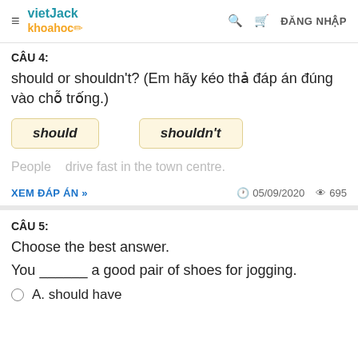vietJack khoahoc | ĐĂNG NHẬP
CÂU 4:
should or shouldn't? (Em hãy kéo thả đáp án đúng vào chỗ trống.)
should   shouldn't
People   drive fast in the town centre.
XEM ĐÁP ÁN »   05/09/2020   695
CÂU 5:
Choose the best answer.
You ______ a good pair of shoes for jogging.
A. should have